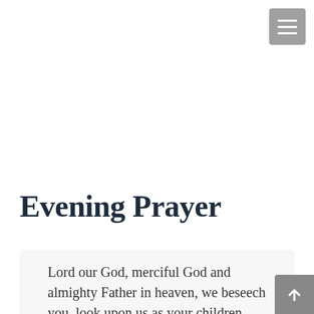[Figure (other): Hamburger menu button - gray square with three white horizontal lines]
Evening Prayer
Lord our God, merciful God and almighty Father in heaven, we beseech you, look upon us as your children. For in spite of everything, all of us are allowed to be your children and to praise
[Figure (other): Scroll to top button - gray square with white upward arrow]